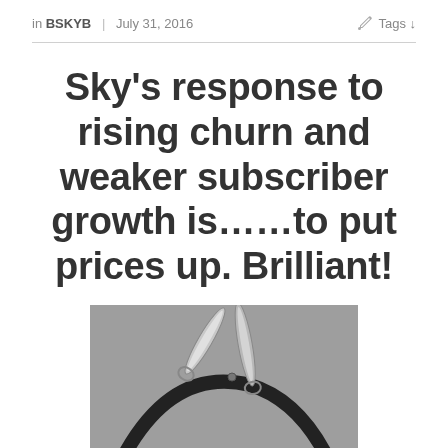in BSKYB | July 31, 2016   Tags ↓
Sky's response to rising churn and weaker subscriber growth is……to put prices up. Brilliant!
[Figure (photo): A pair of scissors cutting a cable or cord, photographed on a grey background — illustrating cord-cutting in the pay-TV industry.]